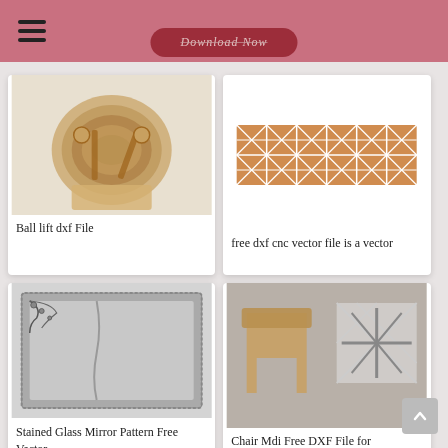≡
Download Now
[Figure (photo): Laser-cut wooden ball lift mechanism, a complex wooden device with concentric rings and arms.]
Ball lift dxf File
[Figure (photo): Decorative CNC cut lattice/trellis panel with diamond crosshatch pattern in orange/bronze color.]
free dxf cnc vector file is a vector
[Figure (photo): Stained glass mirror pattern showing an ornate decorative frame with filigree design on gray background.]
Stained Glass Mirror Pattern Free Vector
[Figure (photo): Two wooden chair or stool frames with woven/lattice patterns, CNC cut design shown in workshop setting.]
Chair Mdi Free DXF File for
[Figure (photo): Partial view of a circular/mandala pattern CNC vector design.]